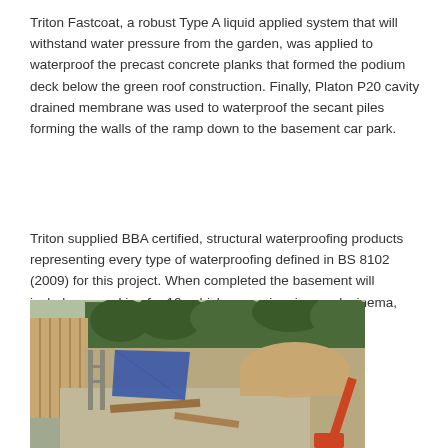Triton Fastcoat, a robust Type A liquid applied system that will withstand water pressure from the garden, was applied to waterproof the precast concrete planks that formed the podium deck below the green roof construction. Finally, Platon P20 cavity drained membrane was used to waterproof the secant piles forming the walls of the ramp down to the basement car park.
Triton supplied BBA certified, structural waterproofing products representing every type of waterproofing defined in BS 8102 (2009) for this project. When completed the basement will include car parking for 10 vehicles, a swimming pool, cinema, and bedroom suites.
[Figure (photo): Construction site photograph showing an excavated basement area with concrete slabs, wooden fencing on the left, blue tarpaulin material, a dirt mound, an orange crane arm visible at bottom right, and trees in the background.]